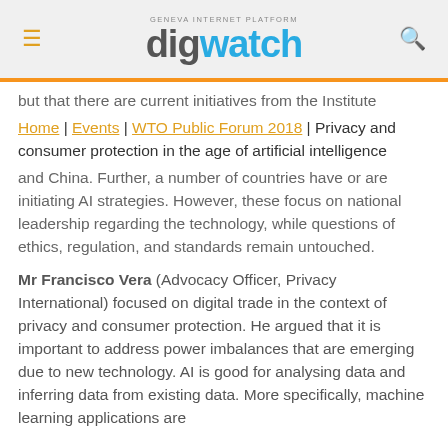GENEVA INTERNET PLATFORM digwatch
but that there are current initiatives from the Institute
Home | Events | WTO Public Forum 2018 | Privacy and consumer protection in the age of artificial intelligence
and China. Further, a number of countries have or are initiating AI strategies. However, these focus on national leadership regarding the technology, while questions of ethics, regulation, and standards remain untouched.
Mr Francisco Vera (Advocacy Officer, Privacy International) focused on digital trade in the context of privacy and consumer protection. He argued that it is important to address power imbalances that are emerging due to new technology. AI is good for analysing data and inferring data from existing data. More specifically, machine learning applications are